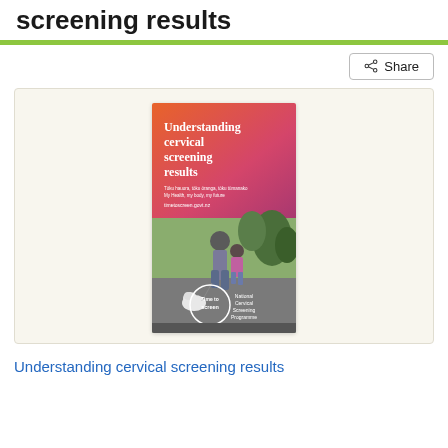screening results
[Figure (photo): Brochure cover titled 'Understanding cervical screening results' showing a woman and child walking a dog in a park, with a gradient orange-to-pink top section and 'Time to screen' logo, from the National Cervical Screening Programme.]
Understanding cervical screening results